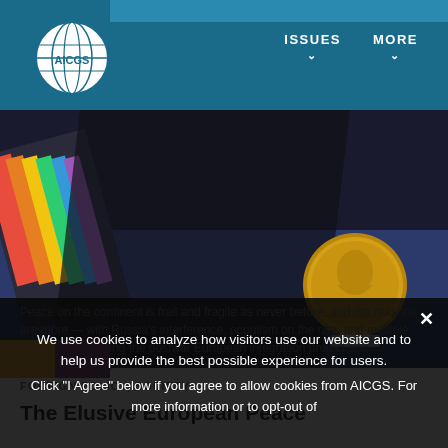AICGS — ISSUES   MORE
[Figure (photo): Nobel Peace Prize medal (gold coin with profile portrait) displayed on a stand, with colorful books or flags in the background, shot in dim dramatic lighting.]
FOREIGN POLICY, SOCIETY
The Elusive European Peace
Peace on the continent is frail and fragile as never before, and the reasons are more — with Russia's interference,...populism on the rise, and multiple factors undermining the postwar European integration project and challenging the...
We use cookies to analyze how visitors use our website and to help us provide the best possible experience for users.

Click "I Agree" below if you agree to allow cookies from AICGS. For more information or to opt-out of